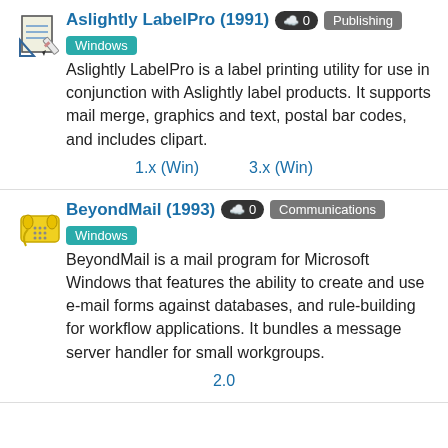Aslightly LabelPro (1991) · 0 · Publishing · Windows
Aslightly LabelPro is a label printing utility for use in conjunction with Aslightly label products. It supports mail merge, graphics and text, postal bar codes, and includes clipart.
1.x (Win)
3.x (Win)
BeyondMail (1993) · 0 · Communications · Windows
BeyondMail is a mail program for Microsoft Windows that features the ability to create and use e-mail forms against databases, and rule-building for workflow applications. It bundles a message server handler for small workgroups.
2.0